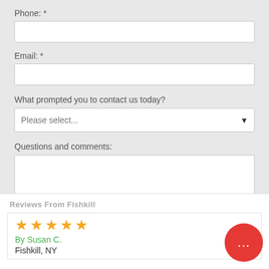Phone: *
Email: *
What prompted you to contact us today?
Please select...
Questions and comments:
Get your Free Estimate
Reviews From Fishkill
[Figure (other): Five gold star rating icons]
By Susan C.
Fishkill, NY